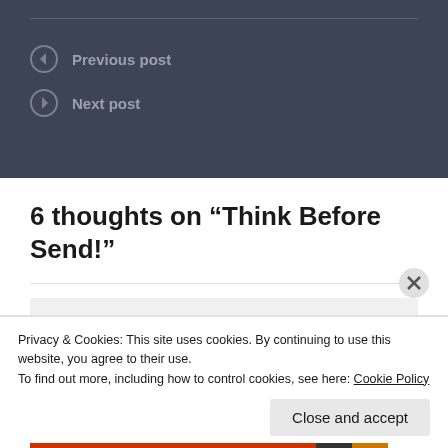Previous post
Next post
6 thoughts on “Think Before Send!”
Viviana Julio
Privacy & Cookies: This site uses cookies. By continuing to use this website, you agree to their use.
To find out more, including how to control cookies, see here: Cookie Policy
Close and accept